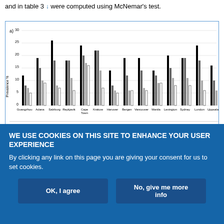and in table 3 ↓ were computed using McNemar's test.
[Figure (grouped-bar-chart): Two grouped bar charts showing Prevalence % across 15 cities including Guangzhou, Adana, Salzburg, Reykjavik, Cape Town, Krakow, Hanover, Bergen, Vancouver, Manila, Lexington, Sydney, London, Uppsala. Chart a) uses solid bars in black, dark gray, light gray, and white. Chart b) uses patterned bars with hatching and solid fills.]
WE USE COOKIES ON THIS SITE TO ENHANCE YOUR USER EXPERIENCE
By clicking any link on this page you are giving your consent for us to set cookies.